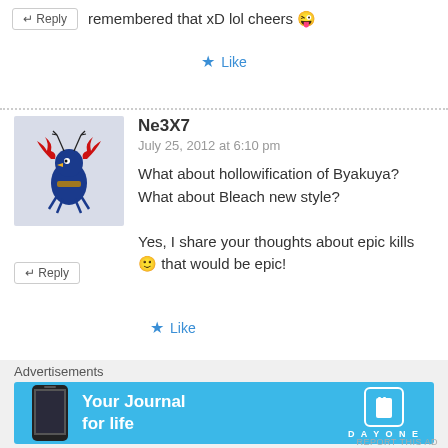remembered that xD lol cheers 😜
★ Like
Ne3X7
July 25, 2012 at 6:10 pm
What about hollowification of Byakuya? What about Bleach new style?

Yes, I share your thoughts about epic kills 🙂 that would be epic!
★ Like
Advertisements
[Figure (illustration): Day One app advertisement banner with text 'Your Journal for life' and Day One logo]